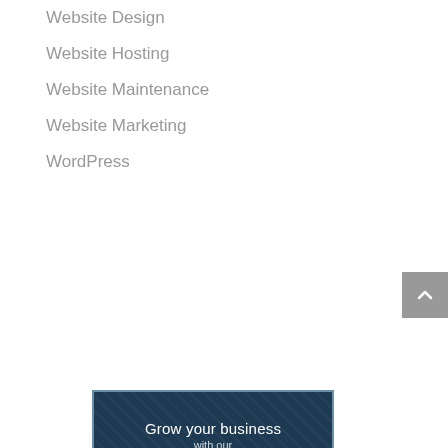Website Design
Website Hosting
Website Maintenance
Website Marketing
WordPress
[Figure (infographic): Dark blue promotional banner with white border. Text reads: 'Grow your business with our AFFORDABLE & UNIQUE WEBSITE DESIGN SERVICES Find out more >']